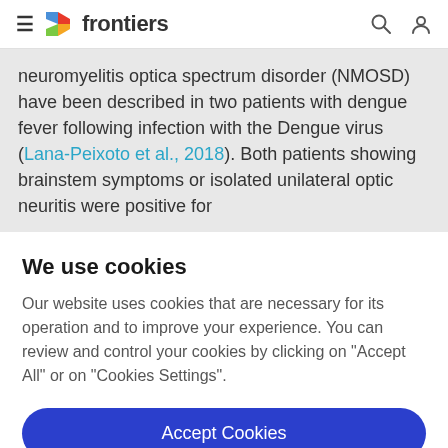frontiers (navigation bar with hamburger menu, logo, search, and user icons)
Neuromyelitis optica spectrum disorder (NMOSD) have been described in two patients with dengue fever following infection with the Dengue virus (Lana-Peixoto et al., 2018). Both patients showing brainstem symptoms or isolated unilateral optic neuritis were positive for
We use cookies
Our website uses cookies that are necessary for its operation and to improve your experience. You can review and control your cookies by clicking on "Accept All" or on "Cookies Settings".
Accept Cookies
Cookies Settings